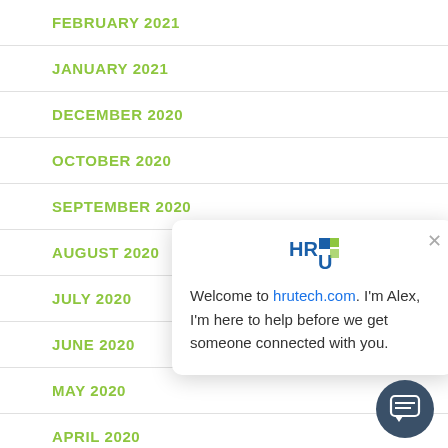FEBRUARY 2021
JANUARY 2021
DECEMBER 2020
OCTOBER 2020
SEPTEMBER 2020
AUGUST 2020
JULY 2020
JUNE 2020
MAY 2020
APRIL 2020
MARCH 2020
[Figure (screenshot): Chat popup from hrutech.com with HR U logo, close button, and message: Welcome to hrutech.com. I'm Alex, I'm here to help before we get someone connected with you.]